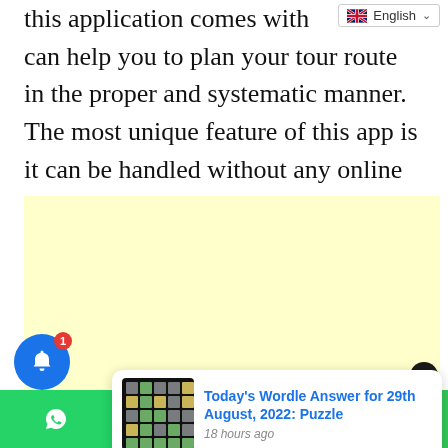this application comes with can help you to plan your tour route in the proper and systematic manner. The most unique feature of this app is it can be handled without any online connection. That’s why it is super eligible to be your partner in your tour Mania.
[Figure (other): Language selector dropdown showing English with UK flag]
[Figure (other): Yellow advertisement block]
[Figure (screenshot): Notification popup: Today's Wordle Answer for 29th August, 2022: Puzzle, 18 hours ago, with Wordle grid thumbnail]
[Figure (other): Social share bar with WhatsApp, Twitter, Messenger, and share buttons. Bell notification icon with badge count 1.]